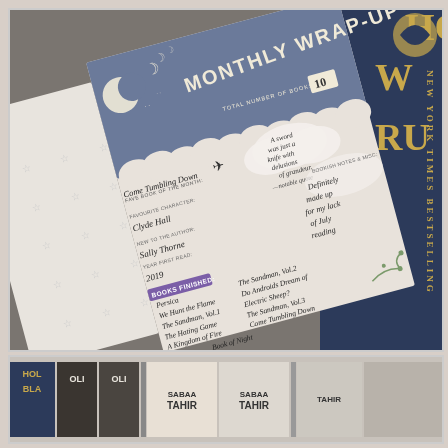[Figure (photo): Photo of an open reading journal/planner showing a 'Monthly Wrap-Up' page with moon and cloud decorations. The page has handwritten entries: Total number of books read: 10, Favorite book of the month: Come Tumbling Down, Favorite character: Clyde Hall, New to the author: Sally Thorne, Year first read: 2019. Notable quote: 'A sword was just a knife with delusions of grandeur.' Bookish notes & misc: 'Definitely made up for my lack of July reading'. Books finished list: Persica, We Hunt the Flame, The Sandman Vol.1, The Hating Game, The Sandman Vol.2, Do Androids Dream of Electric Sheep?, The Sandman Vol.3, A Kingdom of Fire, Come Tumbling Down, Book of Night. Next to the journal is a dark blue book with gold text 'HOW [RULI...]' (partially visible).]
[Figure (photo): Photo strip showing book spines arranged side by side, including books by Sabaa Tahir and others with partial titles visible: HOL, BLA, OLI, OLI, TAHIR, TAHIR, TAHIR.]